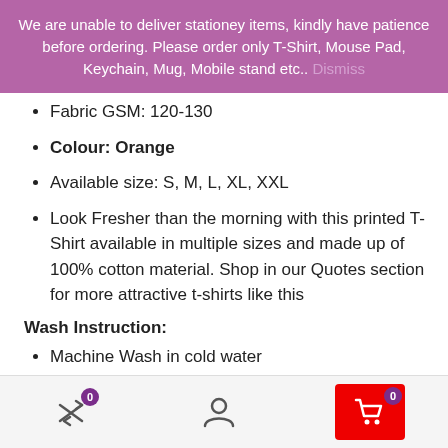We are unable to deliver stationey items, kindly have patience before ordering. Please order only T-Shirt, Mouse Pad, Keychain, Mug, Mobile stand etc.. Dismiss
Fabric GSM: 120-130
Colour: Orange
Available size: S, M, L, XL, XXL
Look Fresher than the morning with this printed T-Shirt available in multiple sizes and made up of 100% cotton material. Shop in our Quotes section for more attractive t-shirts like this
Wash Instruction:
Machine Wash in cold water
[Figure (screenshot): Bottom navigation bar with shuffle icon (badge 0), user/person icon, and red cart icon (badge 0)]